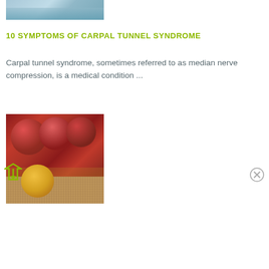[Figure (photo): Photo of a person typing on a keyboard, partially visible, with teal/blue tones]
10 SYMPTOMS OF CARPAL TUNNEL SYNDROME
Carpal tunnel syndrome, sometimes referred to as median nerve compression, is a medical condition ...
[Figure (photo): Photo of red plums/nectarines on a burlap surface, one cut open showing yellow flesh]